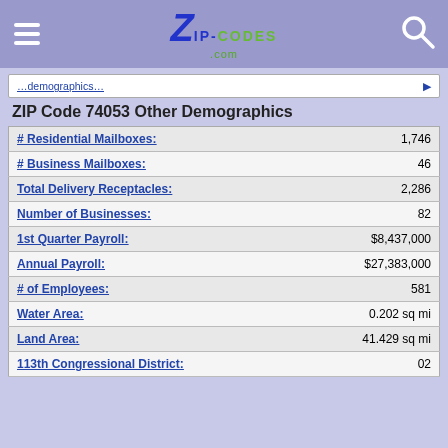ZIP-CODES.com
ZIP Code 74053 Other Demographics
| Metric | Value |
| --- | --- |
| # Residential Mailboxes: | 1,746 |
| # Business Mailboxes: | 46 |
| Total Delivery Receptacles: | 2,286 |
| Number of Businesses: | 82 |
| 1st Quarter Payroll: | $8,437,000 |
| Annual Payroll: | $27,383,000 |
| # of Employees: | 581 |
| Water Area: | 0.202 sq mi |
| Land Area: | 41.429 sq mi |
| 113th Congressional District: | 02 |